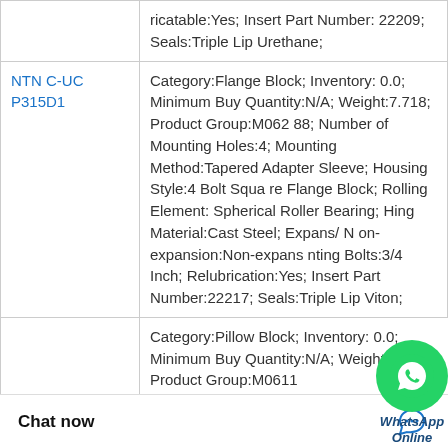| Part | Details |
| --- | --- |
|  | ricatable:Yes; Insert Part Number: 22209; Seals:Triple Lip Urethane; |
| NTN C-UCP315D1 | Category:Flange Block; Inventory: 0.0; Minimum Buy Quantity:N/A; Weight:7.718; Product Group:M06288; Number of Mounting Holes:4; Mounting Method:Tapered Adapter Sleeve; Housing Style:4 Bolt Square Flange Block; Rolling Element: Spherical Roller Bearing; Housing Material:Cast Steel; Expansion/Non-expansion:Non-expansion; Mounting Bolts:3/4 Inch; Relubrication:Yes; Insert Part Number:22217; Seals:Triple Lip Viton; |
|  | Category:Pillow Block; Inventory: 0.0; Minimum Buy Quantity:N/A; Weight:8.81; Product Group:M0611; Number of Mounting Holes:2; Mounting Method:Concentric Collar; Housing Style:2 Bolt Pillow Block; |